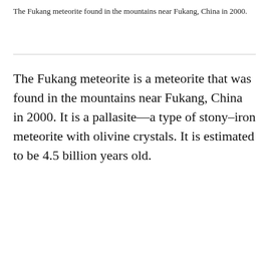The Fukang meteorite found in the mountains near Fukang, China in 2000.
The Fukang meteorite is a meteorite that was found in the mountains near Fukang, China in 2000. It is a pallasite—a type of stony–iron meteorite with olivine crystals. It is estimated to be 4.5 billion years old.